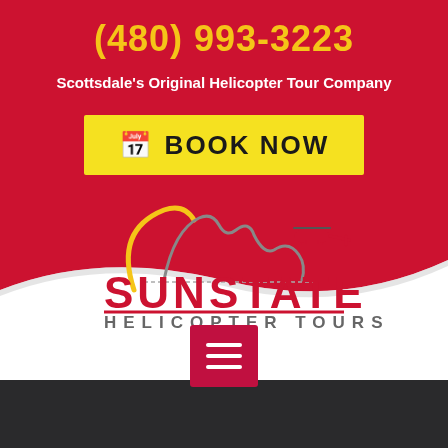(480) 993-3223
Scottsdale's Original Helicopter Tour Company
BOOK NOW
[Figure (logo): Sunstate Helicopter Tours logo with mountain outline in gray/yellow and red helicopter, with SUNSTATE in red bold letters and HELICOPTER TOURS below]
[Figure (other): Pink/red hamburger menu button with three white horizontal bars]